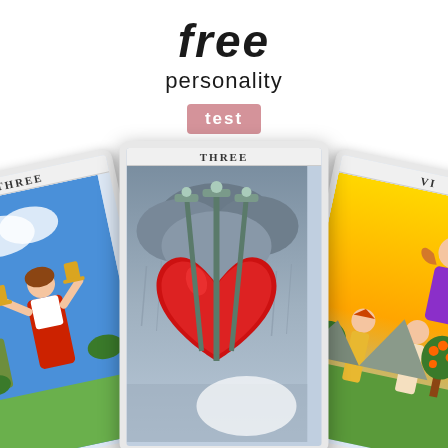free personality test
[Figure (illustration): Three tarot cards fanned out: left card shows Three of Cups (figure with chalices, blue background), center card shows Three of Swords (heart pierced by three swords, stormy sky), right card shows VI (The Lovers or similar, sunny garden scene with two figures and an angel).]